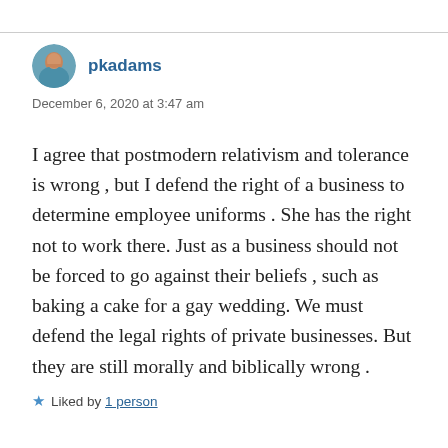[Figure (photo): Circular avatar photo of user pkadams]
pkadams
December 6, 2020 at 3:47 am
I agree that postmodern relativism and tolerance is wrong , but I defend the right of a business to determine employee uniforms . She has the right not to work there. Just as a business should not be forced to go against their beliefs , such as baking a cake for a gay wedding. We must defend the legal rights of private businesses. But they are still morally and biblically wrong .
Liked by 1 person